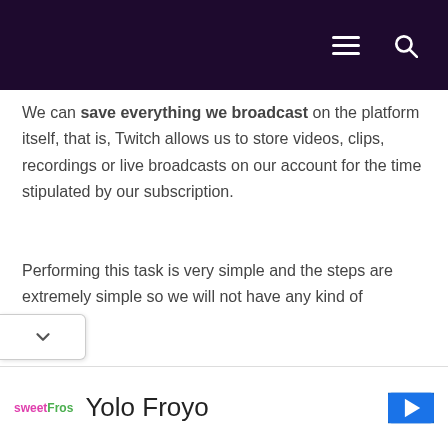We can save everything we broadcast on the platform itself, that is, Twitch allows us to store videos, clips, recordings or live broadcasts on our account for the time stipulated by our subscription.
Performing this task is very simple and the steps are extremely simple so we will not have any kind of problem.
We must click on the button our profile found in the upper-right section of the Twitch screen.
Yolo Froyo